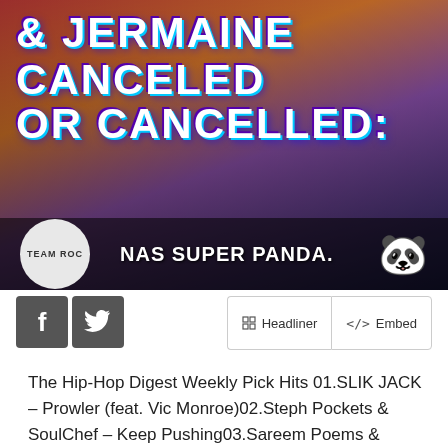[Figure (photo): Promotional image with palm trees, sunset background, and bold white text reading '& JERMAINE CANCELED OR CANCELLED:' with 'TEAM ROC' circle logo and 'NAS SUPER PANDA' text with panda icon]
The Hip-Hop Digest Weekly Pick Hits 01.SLIK JACK – Prowler (feat. Vic Monroe)02.Steph Pockets & SoulChef – Keep Pushing03.Sareem Poems & Newselph – Piece Of Peace (feat. Ozay Moore)04.Sintax the Terrific & Sir Chamberlain – We Bridge (Real Prosecutor x Real Defendant)05.Nas – Hip-Hop Is Dead (Amerigo Gazaway Remix) Albums